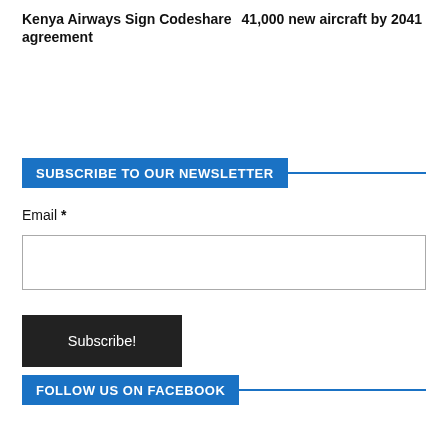Kenya Airways Sign Codeshare agreement
41,000 new aircraft by 2041
SUBSCRIBE TO OUR NEWSLETTER
Email *
FOLLOW US ON FACEBOOK